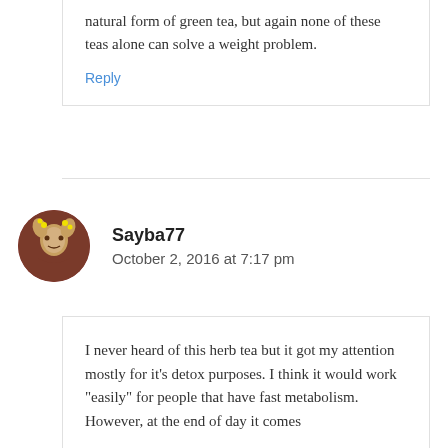natural form of green tea, but again none of these teas alone can solve a weight problem.
Reply
Sayba77
October 2, 2016 at 7:17 pm
I never heard of this herb tea but it got my attention mostly for it’s detox purposes. I think it would work “easily” for people that have fast metabolism. However, at the end of day it comes